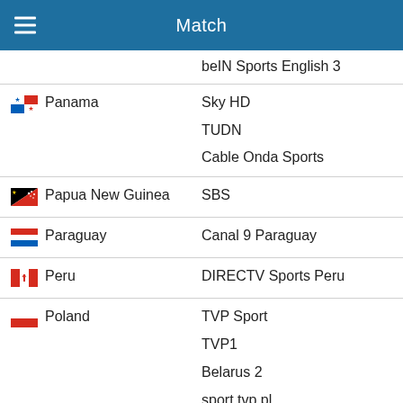Match
| Country | Channel |
| --- | --- |
|  | beIN Sports English 3 |
| Panama | Sky HD
TUDN
Cable Onda Sports |
| Papua New Guinea | SBS |
| Paraguay | Canal 9 Paraguay |
| Peru | DIRECTV Sports Peru |
| Poland | TVP Sport
TVP1
Belarus 2
sport.tvp.pl |
| Portugal | RTP 1
RTP Play
Antena 1 - RTP |